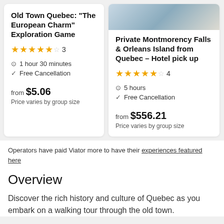Old Town Quebec: "The European Charm" Exploration Game
★★★★½ 3
⏱ 1 hour 30 minutes
✓ Free Cancellation
from $5.06
Price varies by group size
[Figure (photo): Partial view of photo at top of second card]
Private Montmorency Falls & Orleans Island from Quebec - Hotel pick up
★★★★½ 4
⏱ 5 hours
✓ Free Cancellation
from $556.21
Price varies by group size
Operators have paid Viator more to have their experiences featured here
Overview
Discover the rich history and culture of Quebec as you embark on a walking tour through the old town.